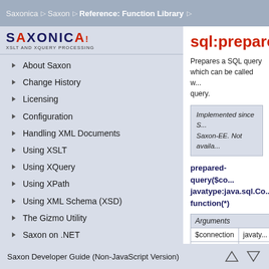Saxonica ▷ Saxon ▷ Reference: Function Library ▷
[Figure (logo): Saxonica logo with text XSLT AND XQUERY PROCESSING]
About Saxon
Change History
Licensing
Configuration
Handling XML Documents
Using XSLT
Using XQuery
Using XPath
Using XML Schema (XSD)
The Gizmo Utility
Saxon on .NET
Extensibility Mechanisms
Saxon Extensions
Sample Saxon Applications
Saxon SQL Extension
sql:prepared-
Prepares a SQL query which can be called w... query.
Implemented since S... Saxon-EE. Not availa...
prepared-query($con... javatype:java.sql.Co... function(*)
| Arguments |  |
| --- | --- |
| $connection | javaty... |
| $query | xs:str... |
Saxon Developer Guide (Non-JavaScript Version)